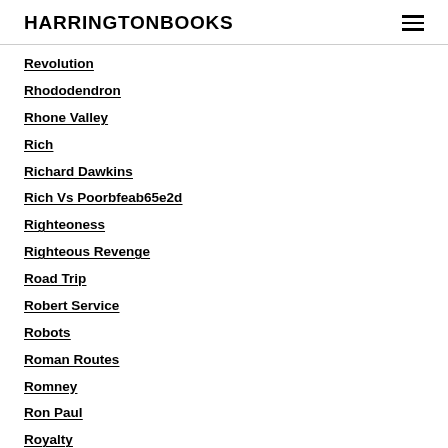HARRINGTONBOOKS
Revolution
Rhododendron
Rhone Valley
Rich
Richard Dawkins
Rich Vs Poorbfeab65e2d
Righteoness
Righteous Revenge
Road Trip
Robert Service
Robots
Roman Routes
Romney
Ron Paul
Royalty
Royal Wedding